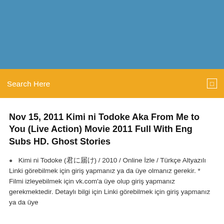[Figure (other): Blue header banner background]
Search Here
Nov 15, 2011 Kimi ni Todoke Aka From Me to You (Live Action) Movie 2011 Full With Eng Subs HD. Ghost Stories
Kimi ni Todoke (君に届け) / 2010 / Online İzle / Türkçe Altyazılı Linki görebilmek için giriş yapmanız ya da üye olmanız gerekir. * Filmi izleyebilmek için vk.com'a üye olup giriş yapmanız gerekmektedir. Detaylı bilgi için Linki görebilmek için giriş yapmanız ya da üye